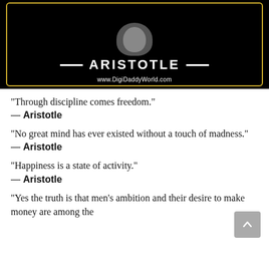[Figure (illustration): Black banner image with a bust silhouette of Aristotle at top center, decorative dash lines on either side of the name 'ARISTOTLE' in large white uppercase letters with small-caps styling, and website URL 'www.DigiDaddyWorld.com' below, all framed with a gold/yellow border on black background.]
“Through discipline comes freedom.”
— Aristotle
“No great mind has ever existed without a touch of madness.”
— Aristotle
“Happiness is a state of activity.”
— Aristotle
“Yes the truth is that men’s ambition and their desire to make money are among the